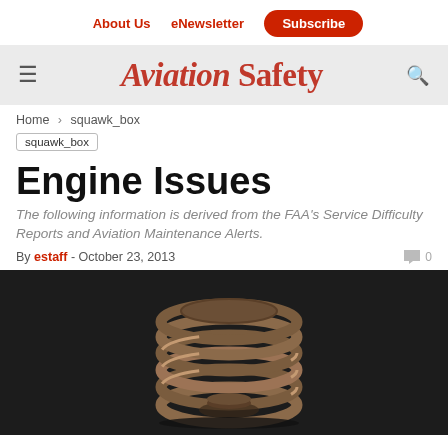About Us   eNewsletter   Subscribe
[Figure (logo): Aviation Safety magazine logo with hamburger menu icon on left and search icon on right, on a grey background]
Home > squawk_box
squawk_box
Engine Issues
The following information is derived from the FAA's Service Difficulty Reports and Aviation Maintenance Alerts.
By estaff - October 23, 2013   0
[Figure (photo): Close-up photograph of a metal engine coil spring component on a dark background]